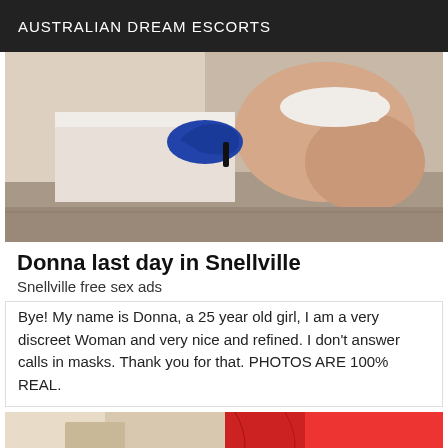AUSTRALIAN DREAM ESCORTS
[Figure (photo): Partial photo of a woman crouching, wearing blue high heels and white lingerie, against a light background.]
Donna last day in Snellville
Snellville free sex ads
Bye! My name is Donna, a 25 year old girl, I am a very discreet Woman and very nice and refined. I don't answer calls in masks. Thank you for that. PHOTOS ARE 100% REAL.
[Figure (photo): Partial photo with red garment visible on right and beige/white on left, with a VIP badge in the bottom right corner.]